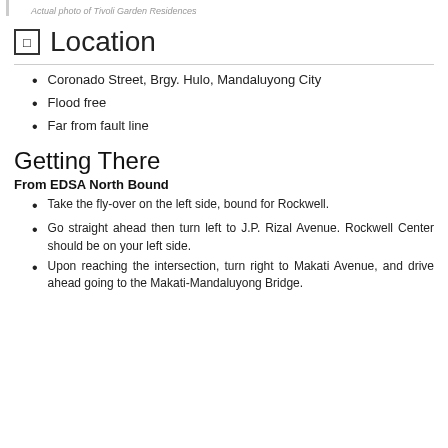Actual photo of Tivoli Garden Residences
Location
Coronado Street, Brgy. Hulo, Mandaluyong City
Flood free
Far from fault line
Getting There
From EDSA North Bound
Take the fly-over on the left side, bound for Rockwell.
Go straight ahead then turn left to J.P. Rizal Avenue. Rockwell Center should be on your left side.
Upon reaching the intersection, turn right to Makati Avenue, and drive ahead going to the Makati-Mandaluyong Bridge.